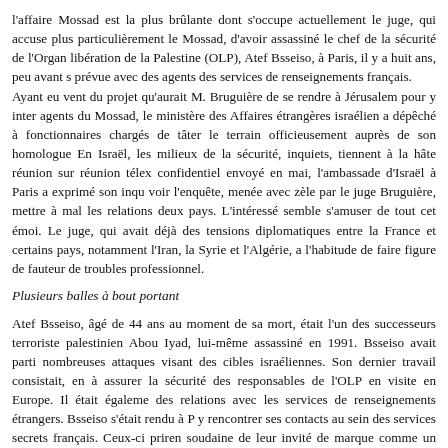l'affaire Mossad est la plus brûlante dont s'occupe actuellement le juge, qui accuse plus particulièrement le Mossad, d'avoir assassiné le chef de la sécurité de l'Organisation libération de la Palestine (OLP), Atef Bsseiso, à Paris, il y a huit ans, peu avant sa prévue avec des agents des services de renseignements français. Ayant eu vent du projet qu'aurait M. Bruguière de se rendre à Jérusalem pour y interroger les agents du Mossad, le ministère des Affaires étrangères israélien a dépêché à Paris des fonctionnaires chargés de tâter le terrain officieusement auprès de son homologue français. En Israël, les milieux de la sécurité, inquiets, tiennent à la hâte réunion sur réunion. Dans un télex confidentiel envoyé en mai, l'ambassade d'Israël à Paris a exprimé son inquiétude de voir l'enquête, menée avec zèle par le juge Bruguière, mettre à mal les relations entre les deux pays. L'intéressé semble s'amuser de tout cet émoi. Le juge, qui avait déjà provoqué des tensions diplomatiques entre la France et certains pays, notamment l'Iran, la Libye, la Syrie et l'Algérie, a l'habitude de faire figure de fauteur de troubles professionnel.
Plusieurs balles à bout portant
Atef Bsseiso, âgé de 44 ans au moment de sa mort, était l'un des successeurs du terroriste palestinien Abou Iyad, lui-même assassiné en 1991. Bsseiso avait participé à de nombreuses attaques visant des cibles israéliennes. Son dernier travail consistait, entre autres, à assurer la sécurité des responsables de l'OLP en visite en Europe. Il était également chargé des relations avec les services de renseignements étrangers. Bsseiso s'était rendu à Paris pour y rencontrer ses contacts au sein des services secrets français. Ceux-ci prirent sa mort soudaine de leur invité de marque comme un affront personnel, et ils s'empressèrent de demander au juge Bruguière de mener une enquête. Le magistrat découvrit que Bsseiso était arrivé par avion de Berlin à Paris le 8 juin 1992. Moins de huit heures après son arrivée, il rentrait d'un dîner tardif quand deux assassins en embuscade le surprirent à l'entrée de son hôtel, le Méridien de Montparnasse. Ils tirèrent sur lui plusieurs fois, à bout portant,